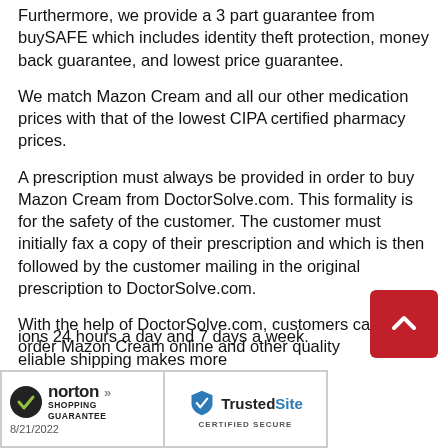Furthermore, we provide a 3 part guarantee from buySAFE which includes identity theft protection, money back guarantee, and lowest price guarantee.
We match Mazon Cream and all our other medication prices with that of the lowest CIPA certified pharmacy prices.
A prescription must always be provided in order to buy Mazon Cream from DoctorSolve.com. This formality is for the safety of the customer. The customer must initially fax a copy of their prescription and which is then followed by the customer mailing in the original prescription to DoctorSolve.com.
With the help of DoctorSolve.com, customers can safely order Mazon Cream online and other quality
ions 24 hours a day and 7 days a week.
eliable shipping makes more
[Figure (logo): Norton Shopping Guarantee badge with checkmark, dated 8/21/2022]
[Figure (logo): TrustedSite Certified Secure badge with shield checkmark]